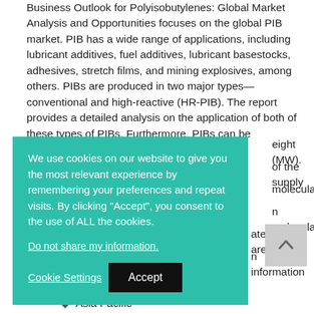Business Outlook for Polyisobutylenes: Global Market Analysis and Opportunities focuses on the global PIB market. PIB has a wide range of applications, including lubricant additives, fuel additives, lubricant basestocks, adhesives, stretch films, and mining explosives, among others. PIBs are produced in two major types—conventional and high-reactive (HR-PIB). The report provides a detailed analysis on the application of both of these types of PIBs. Furthermore, PIBs can be [partially obscured] eight (MW). [partially obscured] of the supply [partially obscured] molecular [partially obscured] n molecular [partially obscured] ated PIBs are
[Figure (other): Cookie consent overlay dialog with teal/green background. Contains text: 'We use cookies on our website to give you the most relevant experience by remembering your preferences and repeat visits. By clicking "Accept", you consent to the use of ALL the cookies.' with a 'Do not share my information.' link, and two buttons: 'Cookie Settings' and 'Accept'.]
n information
Asia Pacific